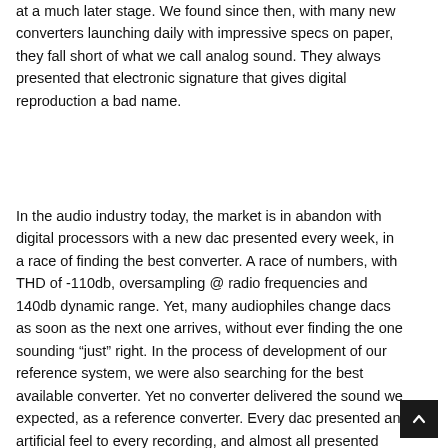at a much later stage. We found since then, with many new converters launching daily with impressive specs on paper, they fall short of what we call analog sound. They always presented that electronic signature that gives digital reproduction a bad name.
In the audio industry today, the market is in abandon with digital processors with a new dac presented every week, in a race of finding the best converter. A race of numbers, with THD of -110db, oversampling @ radio frequencies and 140db dynamic range. Yet, many audiophiles change dacs as soon as the next one arrives, without ever finding the one sounding “just” right. In the process of development of our reference system, we were also searching for the best available converter. Yet no converter delivered the sound we expected, as a reference converter. Every dac presented an artificial feel to every recording, and almost all presented compressed dynamics and poor flow of music, easily noticeable with uncompressed recordings and ultra high sensitivity horn systems. So we began designing the best possible digital processor.